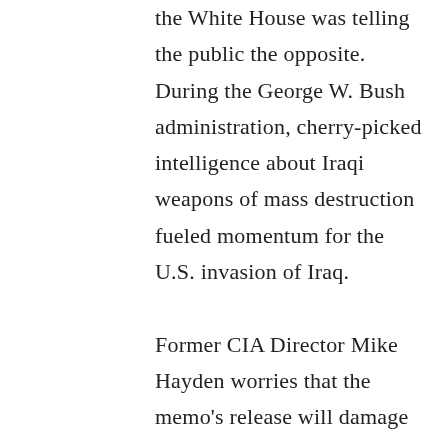the White House was telling the public the opposite. During the George W. Bush administration, cherry-picked intelligence about Iraqi weapons of mass destruction fueled momentum for the U.S. invasion of Iraq.

Former CIA Director Mike Hayden worries that the memo's release will damage